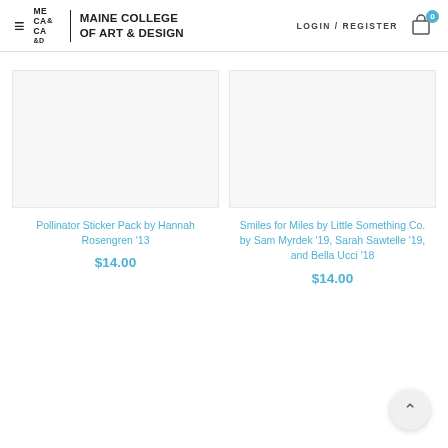ME CA & D | MAINE COLLEGE OF ART & DESIGN | LOGIN / REGISTER | Cart: 0
[Figure (photo): Product image placeholder for Pollinator Sticker Pack]
Pollinator Sticker Pack by Hannah Rosengren '13
$14.00
[Figure (photo): Product image placeholder for Smiles for Miles by Little Something Co.]
Smiles for Miles by Little Something Co. by Sam Myrdek '19, Sarah Sawtelle '19, and Bella Ucci '18
$14.00